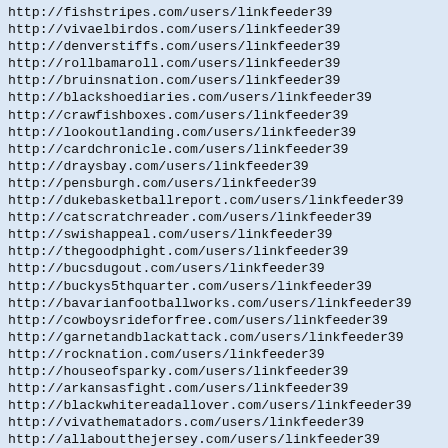http://fishstripes.com/users/linkfeeder39
http://vivaelbirdos.com/users/linkfeeder39
http://denverstiffs.com/users/linkfeeder39
http://rollbamaroll.com/users/linkfeeder39
http://bruinsnation.com/users/linkfeeder39
http://blackshoediaries.com/users/linkfeeder39
http://crawfishboxes.com/users/linkfeeder39
http://lookoutlanding.com/users/linkfeeder39
http://cardchronicle.com/users/linkfeeder39
http://draysbay.com/users/linkfeeder39
http://pensburgh.com/users/linkfeeder39
http://dukebasketballreport.com/users/linkfeeder39
http://catscratchreader.com/users/linkfeeder39
http://swishappeal.com/users/linkfeeder39
http://thegoodphight.com/users/linkfeeder39
http://bucsdugout.com/users/linkfeeder39
http://buckys5thquarter.com/users/linkfeeder39
http://bavarianfootballworks.com/users/linkfeeder39
http://cowboysrideforfree.com/users/linkfeeder39
http://garnetandblackattack.com/users/linkfeeder39
http://rocknation.com/users/linkfeeder39
http://houseofsparky.com/users/linkfeeder39
http://arkansasfight.com/users/linkfeeder39
http://blackwhitereadallover.com/users/linkfeeder39
http://vivathematadors.com/users/linkfeeder39
http://allaboutthejersey.com/users/linkfeeder39
http://hustlebelt.com/users/linkfeeder39
http://wakingthered.com/users/linkfeeder39
http://addictedtoquack.com/users/linkfeeder39
http://capescountry.com/users/linkfeeder39